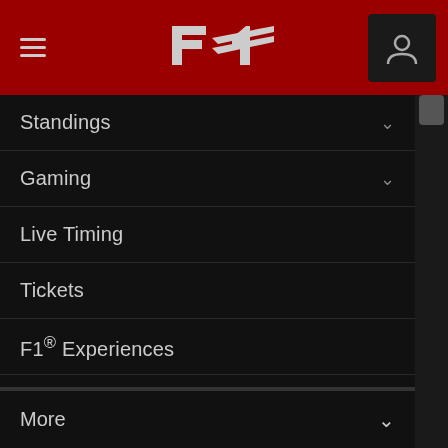F1 Navigation Menu
Standings
Gaming
Live Timing
Tickets
F1® Experiences
Store
Paddock Club
F1® TV
F1® Authentics
Rules & Regulations
More